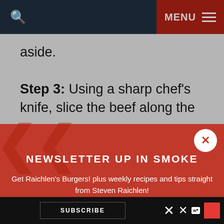MENU
aside.
Step 3: Using a sharp chef's knife, slice the beef along the
NEWSLETTER UP IN SMOKE
Get Raichlen's Burgers! plus weekly recipes and tips straight from Steven Raichlen!
Email
SUBSCRIBE